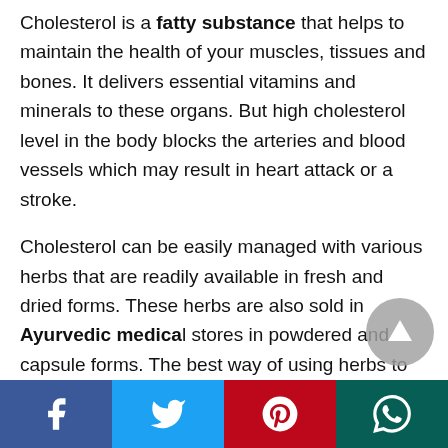Cholesterol is a fatty substance that helps to maintain the health of your muscles, tissues and bones. It delivers essential vitamins and minerals to these organs. But high cholesterol level in the body blocks the arteries and blood vessels which may result in heart attack or a stroke.
Cholesterol can be easily managed with various herbs that are readily available in fresh and dried forms. These herbs are also sold in Ayurvedic medical stores in powdered and capsule forms. The best way of using herbs to lower cholesterol is by adding them in your daily diet.
[Figure (infographic): Social media share bar at bottom with Facebook, Twitter, Pinterest, WhatsApp buttons]